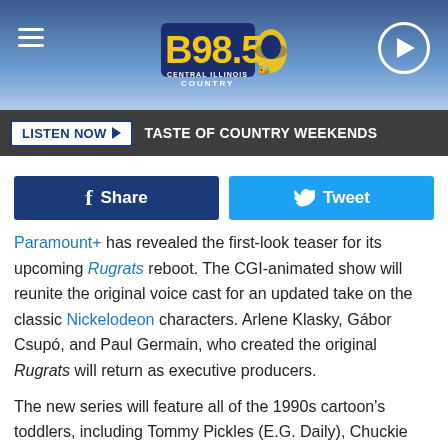[Figure (logo): B98.5 Central Illinois Country radio station logo with a wasp mascot, on a blue gradient header bar with hamburger menu icon on left and play button on right]
LISTEN NOW ▶  TASTE OF COUNTRY WEEKENDS
f  Share
Tweet
Paramount+ has revealed the first-look teaser for its upcoming Rugrats reboot. The CGI-animated show will reunite the original voice cast for an updated take on the classic Nickelodeon characters. Arlene Klasky, Gábor Csupó, and Paul Germain, who created the original Rugrats will return as executive producers.
The new series will feature all of the 1990s cartoon's toddlers, including Tommy Pickles (E.G. Daily), Chuckie Finster (Nancy Cartwright), Angelica Pickles (Cheryl Chase), Susie Carmichael (Cree Summer), and Phil and Lil DeVille